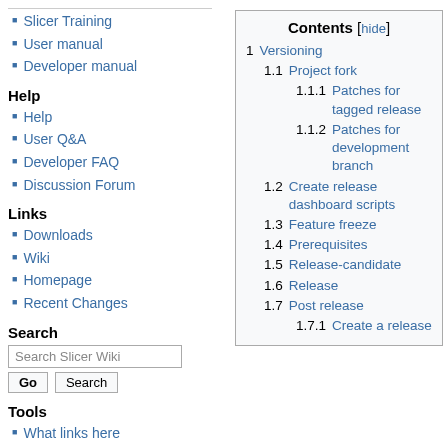Slicer Training
User manual
Developer manual
Help
Help
User Q&A
Developer FAQ
Discussion Forum
Links
Downloads
Wiki
Homepage
Recent Changes
Search
Tools
What links here
Contents [hide]
1 Versioning
1.1 Project fork
1.1.1 Patches for tagged release
1.1.2 Patches for development branch
1.2 Create release dashboard scripts
1.3 Feature freeze
1.4 Prerequisites
1.5 Release-candidate
1.6 Release
1.7 Post release
1.7.1 Create a release